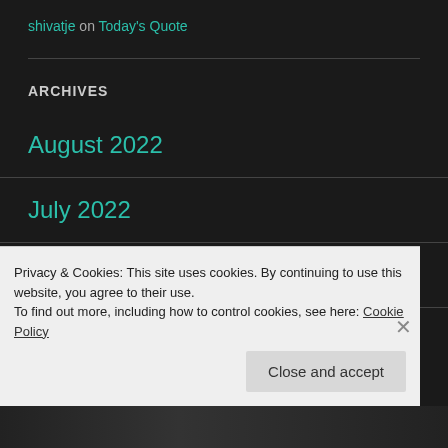shivatje on Today's Quote
ARCHIVES
August 2022
July 2022
June 2022
Privacy & Cookies: This site uses cookies. By continuing to use this website, you agree to their use.
To find out more, including how to control cookies, see here: Cookie Policy
Close and accept